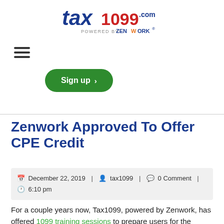[Figure (logo): Tax1099.com powered by Zenwork logo at top center]
[Figure (other): Hamburger menu icon (three horizontal lines)]
[Figure (other): Green Sign up button with right arrow]
Zenwork Approved To Offer CPE Credit
December 22, 2019 | tax1099 | 0 Comment | 6:10 pm
For a couple years now, Tax1099, powered by Zenwork, has offered 1099 training sessions to prepare users for the eFiling season. In these sessions, Zenwork provided information on